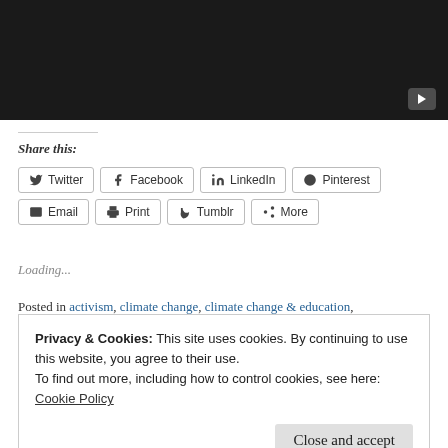[Figure (screenshot): Dark video thumbnail with a YouTube play button in the bottom right corner]
Share this:
Twitter | Facebook | LinkedIn | Pinterest | Email | Print | Tumblr | More
Loading...
Posted in activism, climate change, climate change & education,
Privacy & Cookies: This site uses cookies. By continuing to use this website, you agree to their use. To find out more, including how to control cookies, see here: Cookie Policy
Close and accept
movement, solutions - fundamental, solutions - resistance, subsidiang